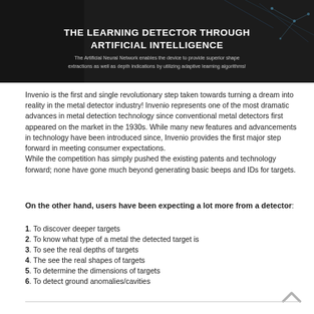[Figure (infographic): Dark banner image with circuit/technology background showing text: THE LEARNING DETECTOR THROUGH ARTIFICIAL INTELLIGENCE. Subtitle: The Artificial Neural Network enables the device to provide superior shape extractions as well as depth indications by utilizing adaptive learning algorithms!]
Invenio is the first and single revolutionary step taken towards turning a dream into reality in the metal detector industry! Invenio represents one of the most dramatic advances in metal detection technology since conventional metal detectors first appeared on the market in the 1930s. While many new features and advancements in technology have been introduced since, Invenio provides the first major step forward in meeting consumer expectations.
While the competition has simply pushed the existing patents and technology forward; none have gone much beyond generating basic beeps and IDs for targets.
On the other hand, users have been expecting a lot more from a detector:
1. To discover deeper targets
2. To know what type of a metal the detected target is
3. To see the real depths of targets
4. The see the real shapes of targets
5. To determine the dimensions of targets
6. To detect ground anomalies/cavities